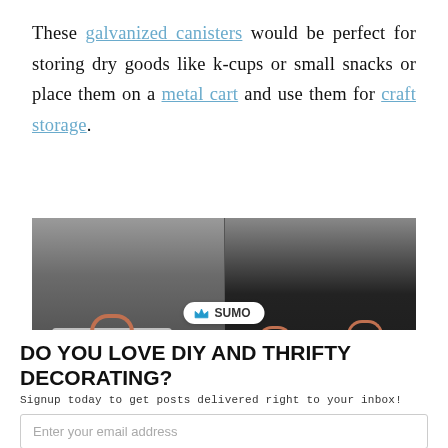These galvanized canisters would be perfect for storing dry goods like k-cups or small snacks or place them on a metal cart and use them for craft storage.
[Figure (photo): Photo of galvanized metal canisters with copper handles on a dark metal cart, with a SUMO badge overlay in the center]
DO YOU LOVE DIY AND THRIFTY DECORATING?
Signup today to get posts delivered right to your inbox!
Enter your email address
Subscribe Now